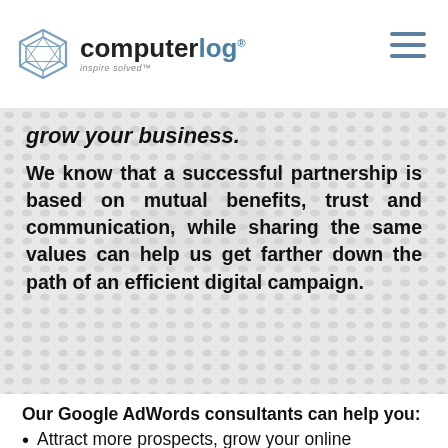computerlog — inspire solved
grow your business.
We know that a successful partnership is based on mutual benefits, trust and communication, while sharing the same values can help us get farther down the path of an efficient digital campaign.
Our Google AdWords consultants can help you:
Attract more prospects, grow your online